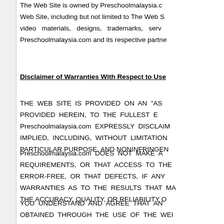The Web Site is owned by Preschoolmalaysia.c... Web Site, including but not limited to The Web S... video materials, designs, trademarks, serv... Preschoolmalaysia.com and its respective partne...
Disclaimer of Warranties With Respect to Use
THE WEB SITE IS PROVIDED ON AN "AS... PROVIDED HEREIN, TO THE FULLEST... Preschoolmalaysia.com EXPRESSLY DISCLAIM... IMPLIED, INCLUDING, WITHOUT LIMITATION... PARTICULAR PURPOSE, AND NONINFRINGEN...
Preschoolmalaysia.com DOES NOT MAKE A... REQUIREMENTS, OR THAT ACCESS TO THE... ERROR-FREE, OR THAT DEFECTS, IF ANY... WARRANTIES AS TO THE RESULTS THAT MA... THE ACCURACY, QUALITY, OR RELIABILITY O...
YOU UNDERSTAND AND AGREE THAT AN... OBTAINED THROUGH THE USE OF THE WE... SOLELY RESPONSIBLE FOR ANY DAMAGE...